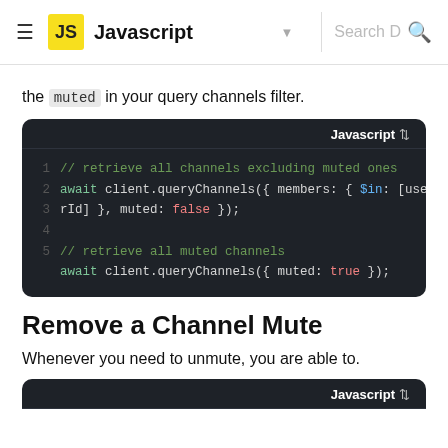Javascript
the muted in your query channels filter.
[Figure (screenshot): Dark-themed code block showing JavaScript code to retrieve channels excluding muted ones and retrieve all muted channels, labeled 'Javascript'.]
Remove a Channel Mute
Whenever you need to unmute, you are able to.
[Figure (screenshot): Partial dark-themed code block labeled 'Javascript' at bottom of page.]